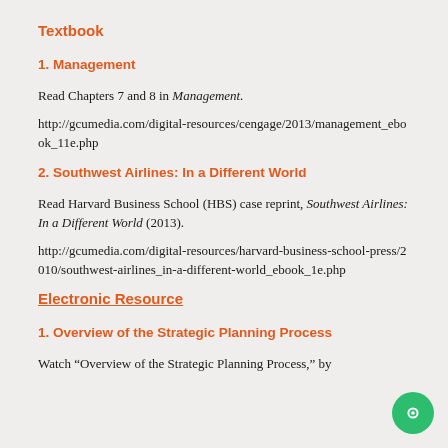Textbook
1. Management
Read Chapters 7 and 8 in Management.
http://gcumedia.com/digital-resources/cengage/2013/management_ebook_11e.php
2. Southwest Airlines: In a Different World
Read Harvard Business School (HBS) case reprint, Southwest Airlines: In a Different World (2013).
http://gcumedia.com/digital-resources/harvard-business-school-press/2010/southwest-airlines_in-a-different-world_ebook_1e.php
Electronic Resource
1. Overview of the Strategic Planning Process
Watch "Overview of the Strategic Planning Process," by Virtual Strategist (2013), located on the YouTube...